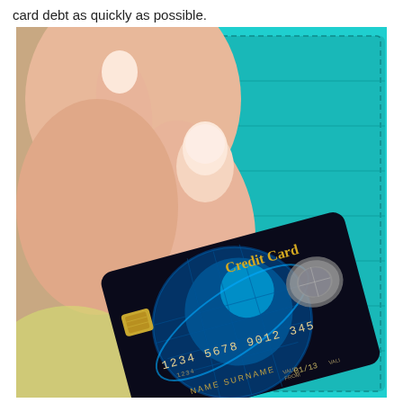card debt as quickly as possible.
[Figure (photo): A hand with manicured nails pulling a dark credit card (labeled 'Credit Card', number 1234 5678 9012 345, NAME SURNAME, VALID FROM 01/13) from a teal/turquoise leather wallet.]